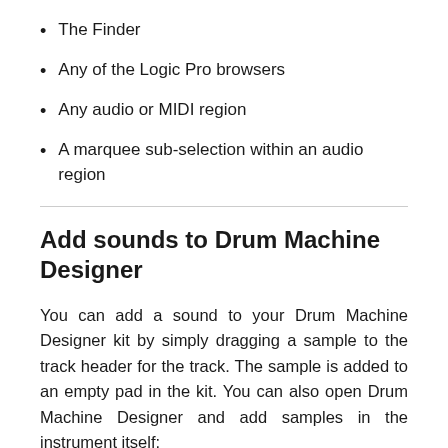The Finder
Any of the Logic Pro browsers
Any audio or MIDI region
A marquee sub-selection within an audio region
Add sounds to Drum Machine Designer
You can add a sound to your Drum Machine Designer kit by simply dragging a sample to the track header for the track. The sample is added to an empty pad in the kit. You can also open Drum Machine Designer and add samples in the instrument itself: